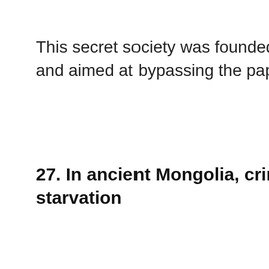This secret society was founded by Roma and aimed at bypassing the papal bull In e
27. In ancient Mongolia, criminals we starvation
[Figure (other): Broken image placeholder with label 'weird historical f']